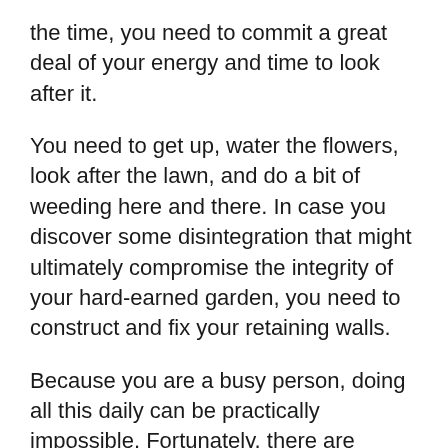the time, you need to commit a great deal of your energy and time to look after it.
You need to get up, water the flowers, look after the lawn, and do a bit of weeding here and there. In case you discover some disintegration that might ultimately compromise the integrity of your hard-earned garden, you need to construct and fix your retaining walls.
Because you are a busy person, doing all this daily can be practically impossible. Fortunately, there are hundreds of landscaping companies in Sydney, and all you need to do is go to the market and pick the one you believe will best satisfy your needs.